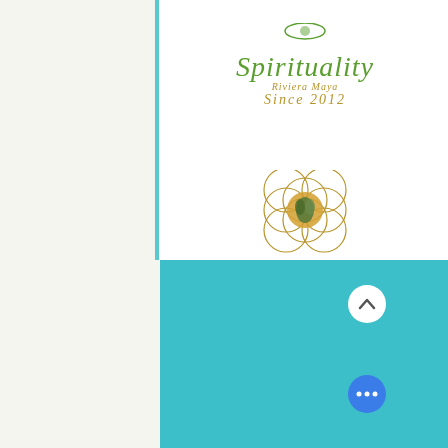[Figure (logo): Spirituality Riviera Maya Since 2012 logo with green italic text]
[Figure (logo): Spirituality Oaxaca logo with flower of life mandala symbol and green italic text]
WEDDINGS
SOCIAL EVENTS
MICE
WELLNESS EVENTS
BLOG